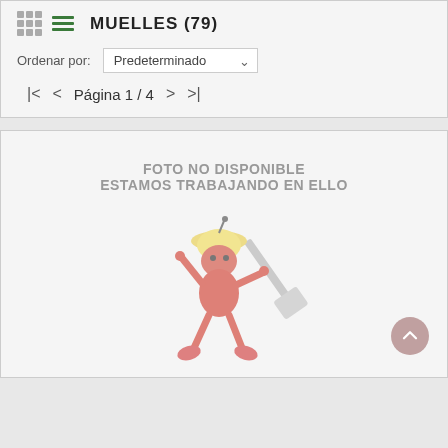MUELLES (79)
Ordenar por: Predeterminado
|<  <  Página 1 / 4  >  >|
[Figure (illustration): Placeholder image showing a red ant construction worker mascot with a yellow hard hat carrying a shovel, with text 'FOTO NO DISPONIBLE / ESTAMOS TRABAJANDO EN ELLO' above it]